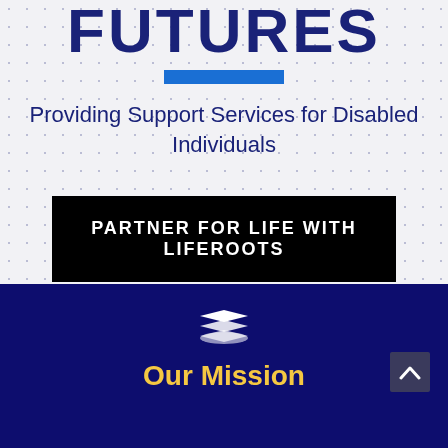FUTURES
Providing Support Services for Disabled Individuals
PARTNER FOR LIFE WITH LIFEROOTS
[Figure (illustration): Stacked layers icon (white) on dark navy background]
Our Mission